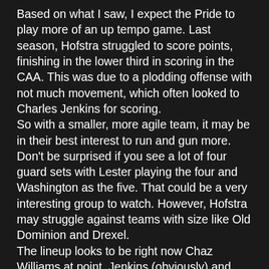Based on what I saw, I expect the Pride to play more of an up tempo game. Last season, Hofstra struggled to score points, finishing in the lower third in scoring in the CAA. This was due to a plodding offense with not much movement, which often looked to Charles Jenkins for scoring.
So with a smaller, more agile team, it may be in their best interest to run and gun more. Don't be surprised if you see a lot of four guard sets with Lester playing the four and Washington as the five. That could be a very interesting group to watch. However, Hofstra may struggle against teams with size like Old Dominion and Drexel.
The lineup looks to be right now Chaz Williams at point, Jenkins (obviously) and Lester as the other two guards with Washington and Szabo up front. This is subject to change. I wouldn't be surprised if Hofstra coach Tom Pecora will start different lineups against more athletic teams like VCU and James Madison to take advantage of his more athletic team.
The next chance I will get to see Hofstra play will be their first game of the season against Kansas in Lawrence on